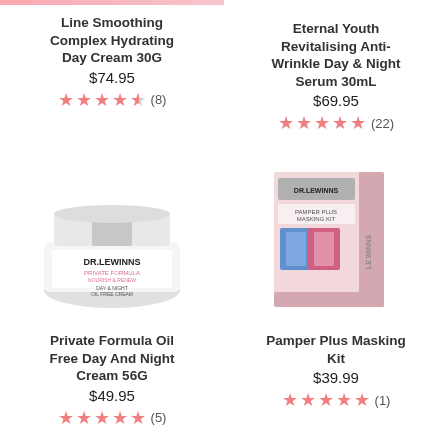[Figure (photo): Pink horizontal bar/strip at top of left column]
Line Smoothing Complex Hydrating Day Cream 30G
$74.95
★★★★½ (8)
Eternal Youth Revitalising Anti-Wrinkle Day & Night Serum 30mL
$69.95
★★★★★ (22)
[Figure (photo): Dr. LeWinn's Private Formula white cream jar product photo]
[Figure (photo): Dr. LeWinn's Pamper Plus Masking Kit box product photo]
Private Formula Oil Free Day And Night Cream 56G
$49.95
★★★★★ (5)
Pamper Plus Masking Kit
$39.99
★★★★★ (1)